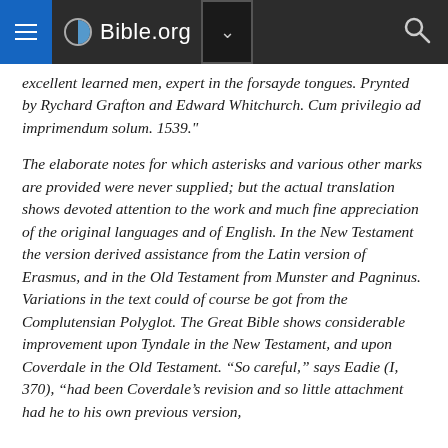Bible.org
excellent learned men, expert in the forsayde tongues. Prynted by Rychard Grafton and Edward Whitchurch. Cum privilegio ad imprimendum solum. 1539."
The elaborate notes for which asterisks and various other marks are provided were never supplied; but the actual translation shows devoted attention to the work and much fine appreciation of the original languages and of English. In the New Testament the version derived assistance from the Latin version of Erasmus, and in the Old Testament from Munster and Pagninus. Variations in the text could of course be got from the Complutensian Polyglot. The Great Bible shows considerable improvement upon Tyndale in the New Testament, and upon Coverdale in the Old Testament. “So careful,” says Eadie (I, 370), “had been Coverdale’s revision and so little attachment had he to his own previous version,